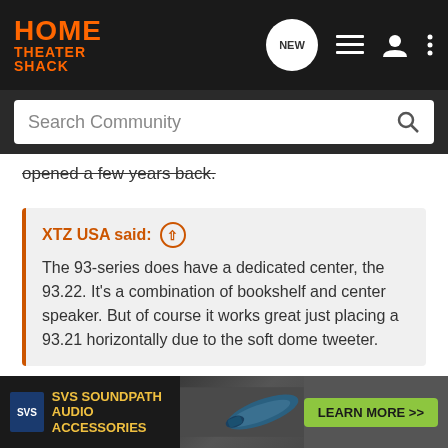[Figure (screenshot): Home Theater Shack website navigation bar with logo, NEW button, list icon, user icon, and more icon]
[Figure (screenshot): Search Community search bar]
opened a few years back.
XTZ USA said: ↑
The 93-series does have a dedicated center, the 93.22. It's a combination of bookshelf and center speaker. But of course it works great just placing a 93.21 horizontally due to the soft dome tweeter.
Thank you for the clarification. I did notice the drivers in the .21 and .22 appeared to be the same, and that the cabinets were similar in size, but wasn't aware the latter was the official center for the series.
The rea... rear port co... etup
[Figure (screenshot): SVS SoundPath Audio Accessories advertisement banner with Learn More button]